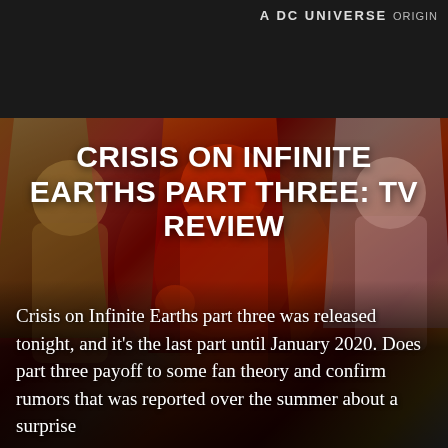A DC UNIVERSE ORIGINAL
Read More
[Figure (photo): Promotional image for Crisis on Infinite Earths featuring superheroes including The Flash in the center, with other characters on either side, against a dramatic red and gold background.]
CRISIS ON INFINITE EARTHS PART THREE: TV REVIEW
Crisis on Infinite Earths part three was released tonight, and it's the last part until January 2020. Does part three payoff to some fan theory and confirm rumors that was reported over the summer about a surprise